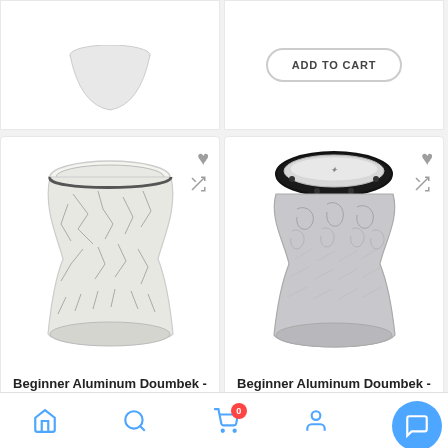[Figure (screenshot): Top strip: left card partial view (bottom of drum product), right card showing ADD TO CART button for a previous product]
[Figure (photo): Product image of Beginner Aluminum Doumbek - White Wall #008, white crackle pattern drum]
Beginner Aluminum Doumbek - White Wall #008
$149.00
ADD TO CART
[Figure (photo): Product image of Beginner Aluminum Doumbek - Silver Shield #004, silver floral engraved drum]
Beginner Aluminum Doumbek - Silver Shield #004
2 Review
$149.00
ADD TO CART
Home | Search | Cart (0) | Account | Chat | More